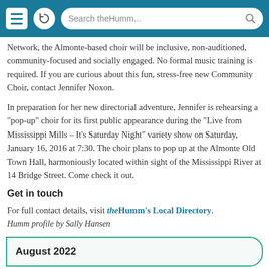Search theHumm...
Network, the Almonte-based choir will be inclusive, non-auditioned, community-focused and socially engaged. No formal music training is required. If you are curious about this fun, stress-free new Community Choir, contact Jennifer Noxon.
In preparation for her new directorial adventure, Jennifer is rehearsing a "pop-up" choir for its first public appearance during the "Live from Mississippi Mills – It's Saturday Night" variety show on Saturday, January 16, 2016 at 7:30. The choir plans to pop up at the Almonte Old Town Hall, harmoniously located within sight of the Mississippi River at 14 Bridge Street. Come check it out.
Get in touch
For full contact details, visit theHumm's Local Directory.
Humm profile by Sally Hansen
August 2022